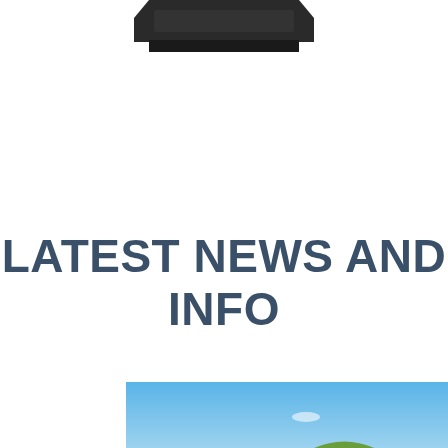[Figure (other): Partial top portion of a dark electronic device or sign, cropped at top of page]
LATEST NEWS AND INFO
[Figure (photo): Outdoor landscape photo showing rolling green hills under a clear blue sky, with a white vehicle (possibly a truck or emergency vehicle) visible in the lower right area of the image]